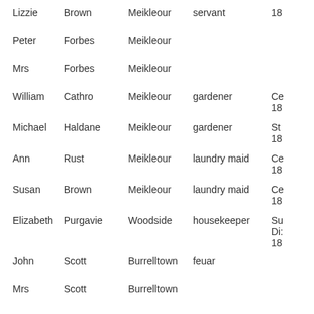| First Name | Surname | Place | Occupation | Ref |
| --- | --- | --- | --- | --- |
| Lizzie | Brown | Meikleour | servant | 18 |
| Peter | Forbes | Meikleour |  |  |
| Mrs | Forbes | Meikleour |  |  |
| William | Cathro | Meikleour | gardener | Ce 18 |
| Michael | Haldane | Meikleour | gardener | St 18 |
| Ann | Rust | Meikleour | laundry maid | Ce 18 |
| Susan | Brown | Meikleour | laundry maid | Ce 18 |
| Elizabeth | Purgavie | Woodside | housekeeper | Su Di 18 |
| John | Scott | Burrelltown | feuar |  |
| Mrs | Scott | Burrelltown |  |  |